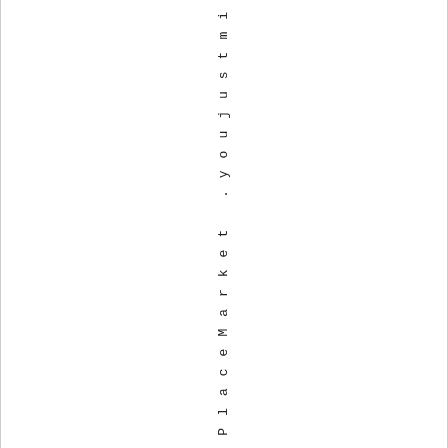tle, sPikePlaceMarket .youjustmi